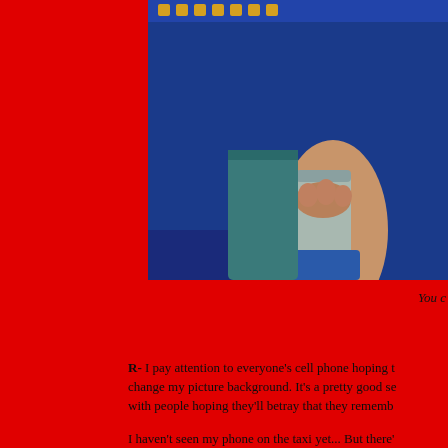[Figure (photo): A person in a blue uniform or jacket holding a rolled document or tube, with gold decorative elements visible at the top. The background is blue.]
You c
R- I pay attention to everyone's cell phone hoping to change my picture background. It's a pretty good se with people hoping they'll betray that they rememb
I haven't seen my phone on the taxi yet... But there' took it from me.
J- "At work the next day, we had a new dishwasher